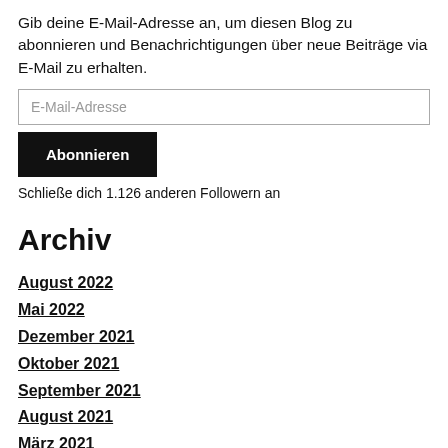Gib deine E-Mail-Adresse an, um diesen Blog zu abonnieren und Benachrichtigungen über neue Beiträge via E-Mail zu erhalten.
E-Mail-Adresse
Abonnieren
Schließe dich 1.126 anderen Followern an
Archiv
August 2022
Mai 2022
Dezember 2021
Oktober 2021
September 2021
August 2021
März 2021
März 2020